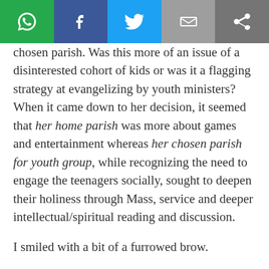[Figure (other): Social media share bar with icons for WhatsApp, Facebook, Twitter, Email, and a generic share icon on grey background]
chosen parish. Was this more of an issue of a disinterested cohort of kids or was it a flagging strategy at evangelizing by youth ministers? When it came down to her decision, it seemed that her home parish was more about games and entertainment whereas her chosen parish for youth group, while recognizing the need to engage the teenagers socially, sought to deepen their holiness through Mass, service and deeper intellectual/spiritual reading and discussion.
I smiled with a bit of a furrowed brow.
It reminded me of something my good friend told me years ago about his own kids’ confirmation and youth group experiences at his own parish. “It’s basically balloons and